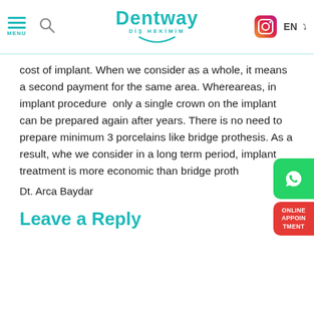Dentway Diş Hekimim — MENU | Search | EN
cost of implant. When we consider as a whole, it means a second payment for the same area. Whereareas, in implant procedure only a single crown on the implant can be prepared again after years. There is no need to prepare minimum 3 porcelains like bridge prothesis. As a result, whe we consider in a long term period, implant treatment is more economic than bridge proth
Dt. Arca Baydar
Leave a Reply